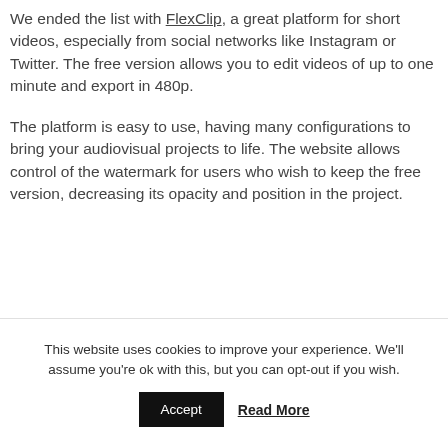We ended the list with FlexClip, a great platform for short videos, especially from social networks like Instagram or Twitter. The free version allows you to edit videos of up to one minute and export in 480p.
The platform is easy to use, having many configurations to bring your audiovisual projects to life. The website allows control of the watermark for users who wish to keep the free version, decreasing its opacity and position in the project.
This website uses cookies to improve your experience. We'll assume you're ok with this, but you can opt-out if you wish.